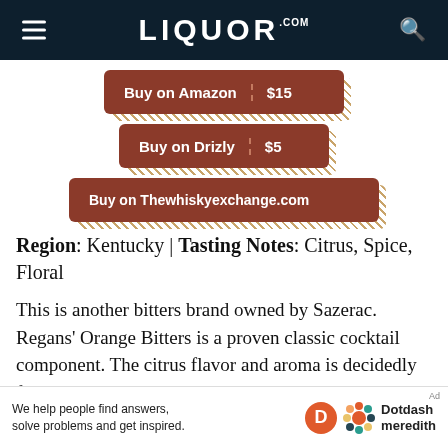LIQUOR.COM
[Figure (screenshot): Buy on Amazon $15 button with hatched shadow]
[Figure (screenshot): Buy on Drizly $5 button with hatched shadow]
[Figure (screenshot): Buy on Thewhiskyexchange.com button with hatched shadow]
Region: Kentucky | Tasting Notes: Citrus, Spice, Floral
This is another bitters brand owned by Sazerac. Regans' Orange Bitters is a proven classic cocktail component. The citrus flavor and aroma is decidedly forward but not overpowering, allowing it to play
[Figure (screenshot): Dotdash Meredith advertisement banner: We help people find answers, solve problems and get inspired.]